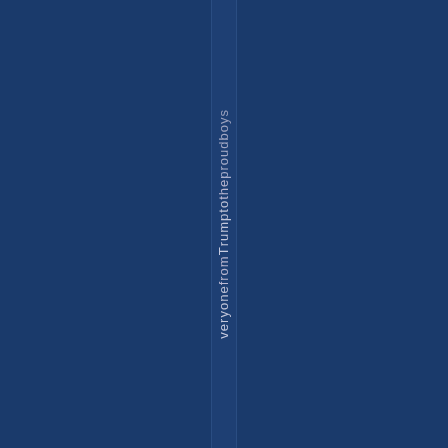veryone from Trump to the proudboys